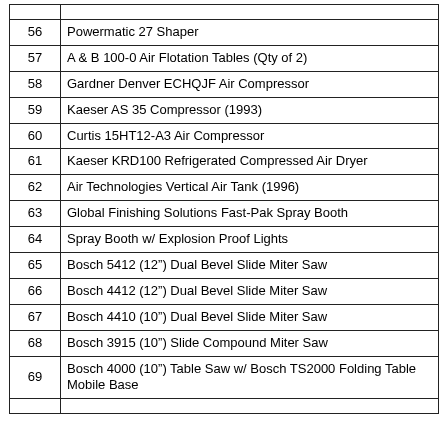| # | Description |
| --- | --- |
| 56 | Powermatic 27 Shaper |
| 57 | A & B 100-0 Air Flotation Tables (Qty of 2) |
| 58 | Gardner Denver ECHQJF Air Compressor |
| 59 | Kaeser AS 35 Compressor (1993) |
| 60 | Curtis 15HT12-A3 Air Compressor |
| 61 | Kaeser KRD100 Refrigerated Compressed Air Dryer |
| 62 | Air Technologies Vertical Air Tank (1996) |
| 63 | Global Finishing Solutions Fast-Pak Spray Booth |
| 64 | Spray Booth w/ Explosion Proof Lights |
| 65 | Bosch 5412 (12") Dual Bevel Slide Miter Saw |
| 66 | Bosch 4412 (12") Dual Bevel Slide Miter Saw |
| 67 | Bosch 4410 (10") Dual Bevel Slide Miter Saw |
| 68 | Bosch 3915 (10") Slide Compound Miter Saw |
| 69 | Bosch 4000 (10") Table Saw w/ Bosch TS2000 Folding Table Mobile Base |